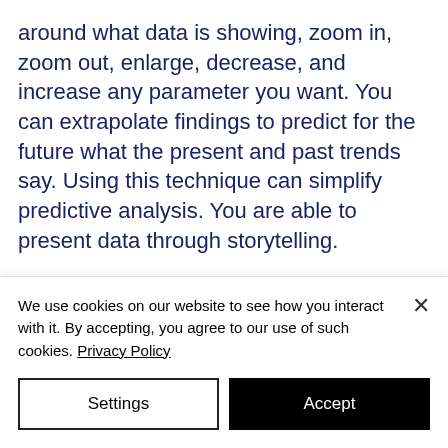around what data is showing, zoom in, zoom out, enlarge, decrease, and increase any parameter you want. You can extrapolate findings to predict for the future what the present and past trends say. Using this technique can simplify predictive analysis. You are able to present data through storytelling.

In performance reviews, with data visualization you can show the employees how they have helped the organization and company.
We use cookies on our website to see how you interact with it. By accepting, you agree to our use of such cookies. Privacy Policy